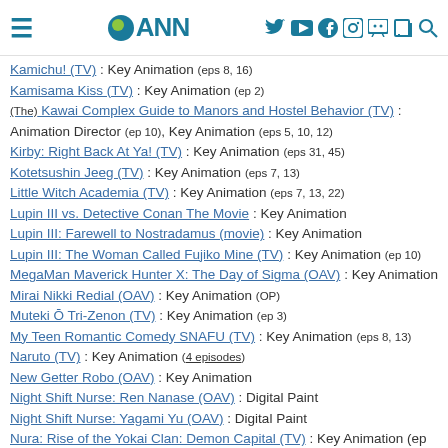ANN navigation header
Kamichu! (TV) : Key Animation (eps 8, 16)
Kamisama Kiss (TV) : Key Animation (ep 2)
(The) Kawai Complex Guide to Manors and Hostel Behavior (TV) : Animation Director (ep 10), Key Animation (eps 5, 10, 12)
Kirby: Right Back At Ya! (TV) : Key Animation (eps 31, 45)
Kotetsushin Jeeg (TV) : Key Animation (eps 7, 13)
Little Witch Academia (TV) : Key Animation (eps 7, 13, 22)
Lupin III vs. Detective Conan The Movie : Key Animation
Lupin III: Farewell to Nostradamus (movie) : Key Animation
Lupin III: The Woman Called Fujiko Mine (TV) : Key Animation (ep 10)
MegaMan Maverick Hunter X: The Day of Sigma (OAV) : Key Animation
Mirai Nikki Redial (OAV) : Key Animation (OP)
Muteki Ō Tri-Zenon (TV) : Key Animation (ep 3)
My Teen Romantic Comedy SNAFU (TV) : Key Animation (eps 8, 13)
Naruto (TV) : Key Animation (4 episodes)
New Getter Robo (OAV) : Key Animation
Night Shift Nurse: Ren Nanase (OAV) : Digital Paint
Night Shift Nurse: Yagami Yu (OAV) : Digital Paint
Nura: Rise of the Yokai Clan: Demon Capital (TV) : Key Animation (ep 12)